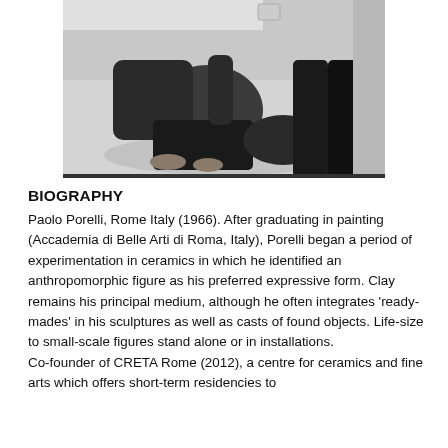[Figure (photo): Black and white photograph of a person crouching/kneeling on the floor, viewed from above, with dark clothing and bare feet visible.]
BIOGRAPHY
Paolo Porelli, Rome Italy (1966). After graduating in painting (Accademia di Belle Arti di Roma, Italy), Porelli began a period of experimentation in ceramics in which he identified an anthropomorphic figure as his preferred expressive form. Clay remains his principal medium, although he often integrates ‘ready-mades’ in his sculptures as well as casts of found objects. Life-size to small-scale figures stand alone or in installations.
Co-founder of CRETA Rome (2012), a centre for ceramics and fine arts which offers short-term residencies to international contemporary ceramic...